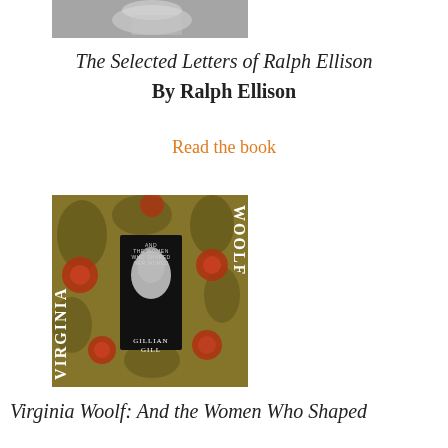[Figure (photo): Partial photo of a person (top portion of a book cover image), black and white, cropped at top of page]
The Selected Letters of Ralph Ellison
By Ralph Ellison
Read the book
[Figure (photo): Book cover for 'Virginia Woolf: And the Women Who Shaped Her World' by Gillian Gill. Floral background with red chrysanthemums on a golden-green background. 'Virginia' written vertically on the left, 'Woolf' written vertically on the right. Center panel shows a black and white profile photo of Virginia Woolf. 'Gillian Gill' written at bottom center.]
Virginia Woolf: And the Women Who Shaped